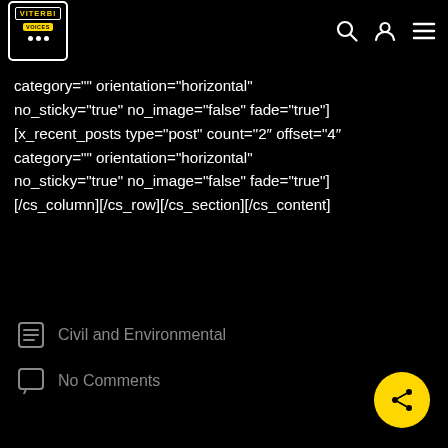Viterbi Voices — navigation header with logo, search, user, and menu icons
category="" orientation="horizontal"
no_sticky="true" no_image="false" fade="true"]
[x_recent_posts type="post" count="2″ offset="4″
category="" orientation="horizontal"
no_sticky="true" no_image="false" fade="true"]
[/cs_column][/cs_row][/cs_section][/cs_content]
Civil and Environmental
No Comments